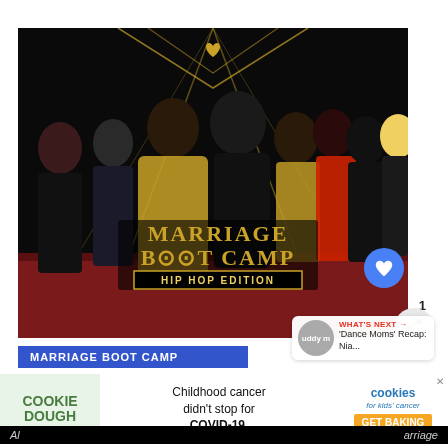[Figure (photo): Promotional image for Marriage Boot Camp: Hip Hop Edition. Shows cast of couples posed in front of a black and gold art deco backdrop with a heart motif. The show title 'MARRIAGE BOOT CAMP HIP HOP EDITION' is displayed in large gold letters in the center.]
WHAT'S NEXT → 'Dance Moms' Recap: Nia...
MARRIAGE BOOT CAMP
[Figure (infographic): Advertisement banner: Cookie Dough - Childhood cancer didn't stop for COVID-19. Cookies for kids' cancer. GET BAKING.]